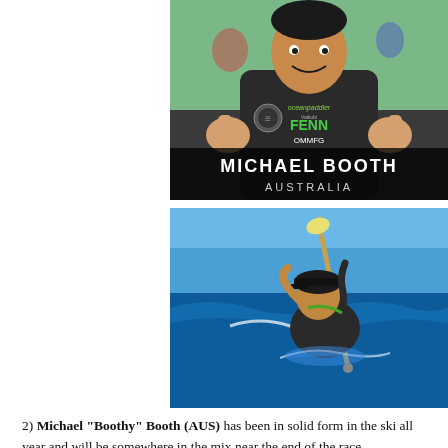[Figure (photo): Michael Booth giving thumbs up wearing Fenn OMMFG jersey, with name overlay 'MICHAEL BOOTH / AUSTRALIA' on dark background]
[Figure (photo): Michael Booth paddling on ocean surf ski in blue water, holding paddle overhead]
2) Michael "Boothy" Booth (AUS) has been in solid form in the ski all year and will be somewhere in the mix near the end of the race